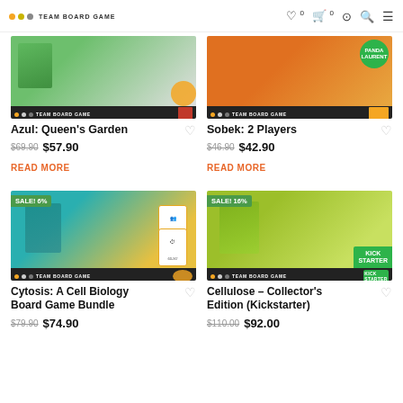TEAM BOARD GAME
[Figure (photo): Azul: Queen's Garden board game box image with Team Board Game branding bar]
Azul: Queen's Garden
$69.90 $57.90
READ MORE
[Figure (photo): Sobek: 2 Players board game box image with Panda Laurent branding and Team Board Game bar]
Sobek: 2 Players
$46.90 $42.90
READ MORE
[Figure (photo): Cytosis: A Cell Biology Board Game Bundle box with SALE! 6% badge and Team Board Game bar]
Cytosis: A Cell Biology Board Game Bundle
$79.90 $74.90
[Figure (photo): Cellulose – Collector's Edition (Kickstarter) box with SALE! 16% badge, Kickstarter badge and Team Board Game bar]
Cellulose – Collector's Edition (Kickstarter)
$110.00 $92.00